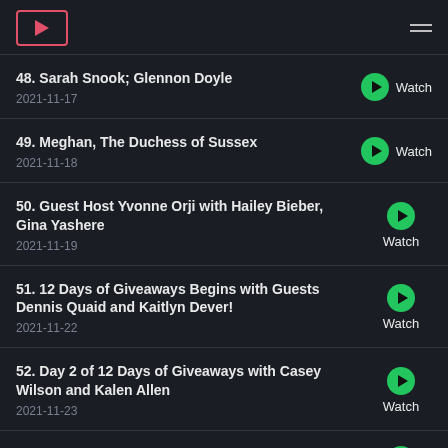TV streaming app header with logo and hamburger menu
48. Sarah Snook; Glennon Doyle
2021-11-17
49. Meghan, The Duchess of Sussex
2021-11-18
50. Guest Host Yvonne Orji with Hailey Bieber, Gina Yashere
2021-11-19
51. 12 Days of Giveaways Begins with Guests Dennis Quaid and Kaitlyn Dever!
2021-11-22
52. Day 2 of 12 Days of Giveaways with Casey Wilson and Kalen Allen
2021-11-23
53. Day 3 of 12 Days of Giveaways with Jared...